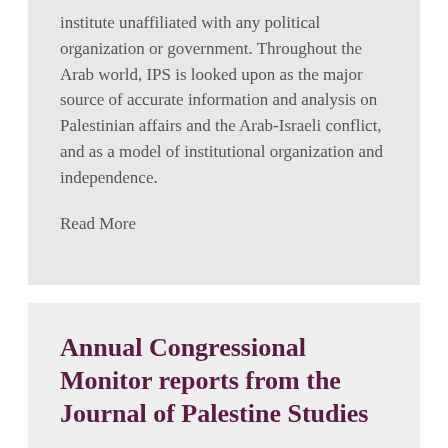institute unaffiliated with any political organization or government. Throughout the Arab world, IPS is looked upon as the major source of accurate information and analysis on Palestinian affairs and the Arab-Israeli conflict, and as a model of institutional organization and independence.
Read More
Annual Congressional Monitor reports from the Journal of Palestine Studies
The 115th Congress, Second Session: 3 January 2018 – 3 January 2019